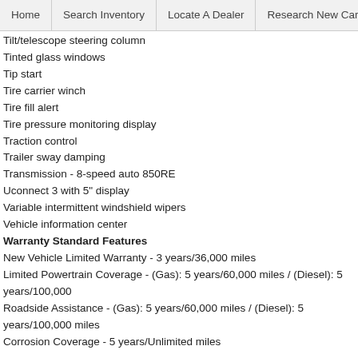Home | Search Inventory | Locate A Dealer | Research New Cars
Tilt/telescope steering column
Tinted glass windows
Tip start
Tire carrier winch
Tire fill alert
Tire pressure monitoring display
Traction control
Trailer sway damping
Transmission - 8-speed auto 850RE
Uconnect 3 with 5" display
Variable intermittent windshield wipers
Vehicle information center
Warranty Standard Features
New Vehicle Limited Warranty - 3 years/36,000 miles
Limited Powertrain Coverage - (Gas): 5 years/60,000 miles / (Diesel): 5 years/100,000 miles
Roadside Assistance - (Gas): 5 years/60,000 miles / (Diesel): 5 years/100,000 miles
Corrosion Coverage - 5 years/Unlimited miles
* All advertised prices exclude state tax, license, document preparation fee, smog fee and finance charges, if applicable. Manufacturer's suggested retail price (MSRP) and/or final sales price will vary depending on options or accessories selected; contact dealer for more details. Prices shown are the prices requested by dealers. Prices may vary by dealership and change. Pricing and availability varies by dealership. Please check with your dealer.